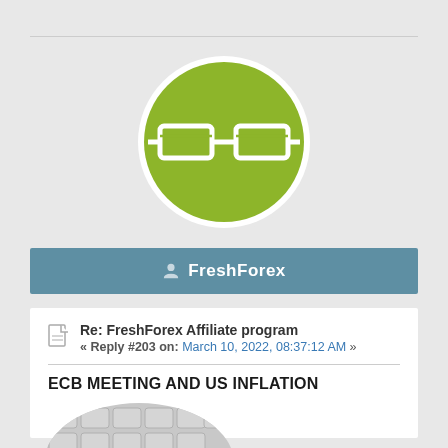[Figure (logo): FreshForex logo: olive-green circle with white glasses/book icon]
FreshForex
Re: FreshForex Affiliate program « Reply #203 on: March 10, 2022, 08:37:12 AM »
ECB MEETING AND US INFLATION
[Figure (photo): A hand pressing a green dollar-sign key on a calculator keyboard]